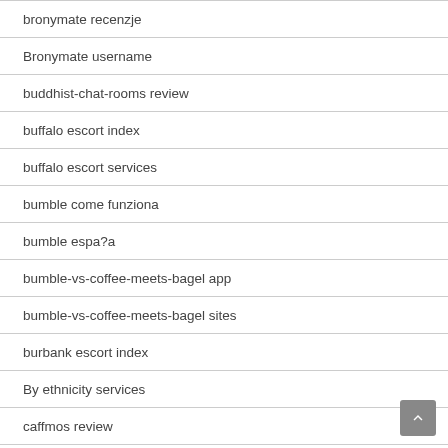bronymate recenzje
Bronymate username
buddhist-chat-rooms review
buffalo escort index
buffalo escort services
bumble come funziona
bumble espa?a
bumble-vs-coffee-meets-bagel app
bumble-vs-coffee-meets-bagel sites
burbank escort index
By ethnicity services
caffmos review